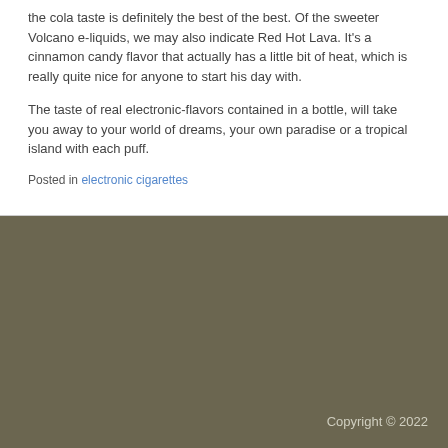the cola taste is definitely the best of the best. Of the sweeter Volcano e-liquids, we may also indicate Red Hot Lava. It's a cinnamon candy flavor that actually has a little bit of heat, which is really quite nice for anyone to start his day with.
The taste of real electronic-flavors contained in a bottle, will take you away to your world of dreams, your own paradise or a tropical island with each puff.
Posted in electronic cigarettes
Copyright © 2022